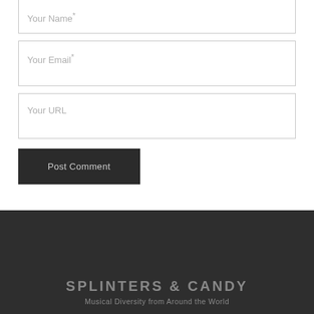Your Name*
Your Email*
Your URL
Post Comment
SPLINTERS & CANDY
Musical Diversity from Around the World